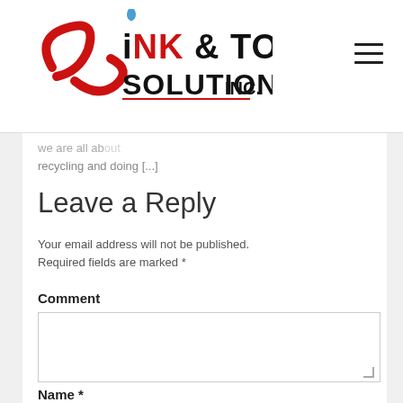Ink & Toner Solutions Inc.
we are all about recycling and doing [...]
Leave a Reply
Your email address will not be published. Required fields are marked *
Comment
Name *